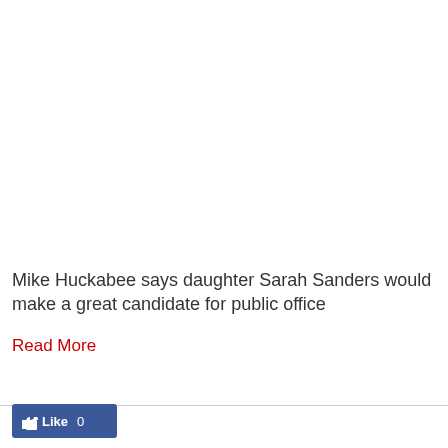Mike Huckabee says daughter Sarah Sanders would make a great candidate for public office
Read More
[Figure (other): Facebook Like button with count showing '0']